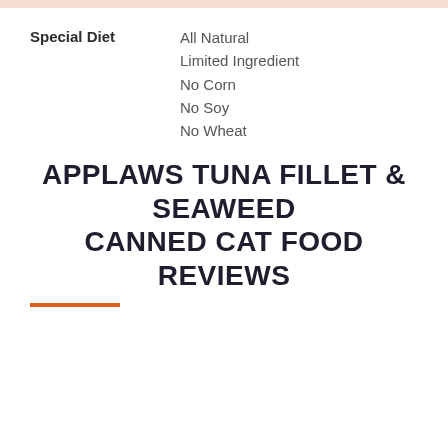| Special Diet | Values |
| --- | --- |
| Special Diet | All Natural
Limited Ingredient
No Corn
No Soy
No Wheat |
APPLAWS TUNA FILLET & SEAWEED CANNED CAT FOOD REVIEWS
Contact Us
Address: 2336 S 156th Circle, Omaha, NE 68130,